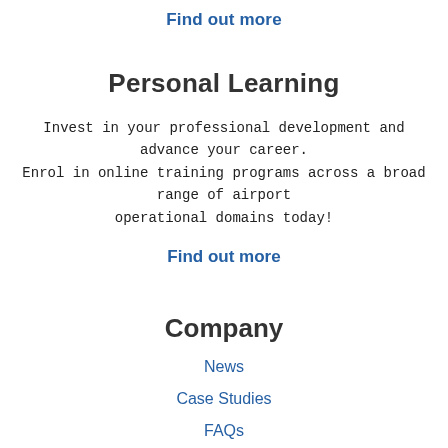Find out more
Personal Learning
Invest in your professional development and advance your career. Enrol in online training programs across a broad range of airport operational domains today!
Find out more
Company
News
Case Studies
FAQs
About Us
Contact Us
Download Course Catalogue